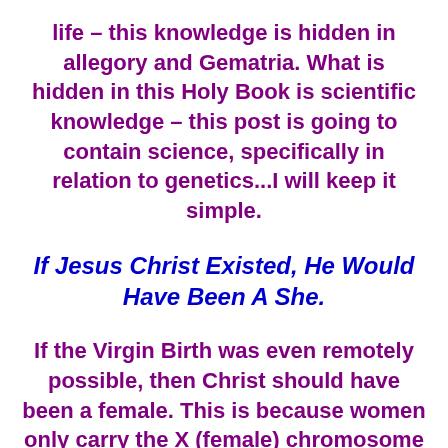life – this knowledge is hidden in allegory and Gematria. What is hidden in this Holy Book is scientific knowledge – this post is going to contain science, specifically in relation to genetics...I will keep it simple.
If Jesus Christ Existed, He Would Have Been A She.
If the Virgin Birth was even remotely possible, then Christ should have been a female. This is because women only carry the X (female) chromosome (they have two X's, while males have an X and a Y). So, without the input of sperm which would give Jesus the Y chromosome thus making him male, he should have been a woman. Some will argue that God was his father